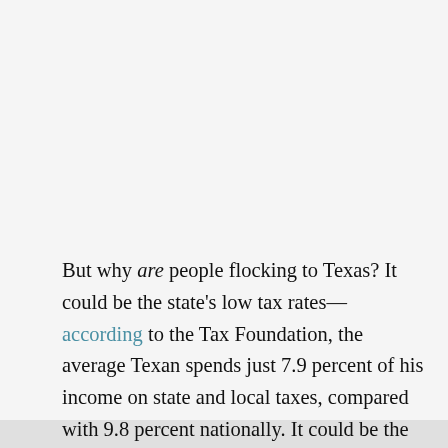But why are people flocking to Texas? It could be the state's low tax rates—according to the Tax Foundation, the average Texan spends just 7.9 percent of his income on state and local taxes, compared with 9.8 percent nationally. It could be the warm, sunny weather. Or it could be Texas' remarkably low housing costs. As H... b... it Ed... d Gl... b... f... d T...